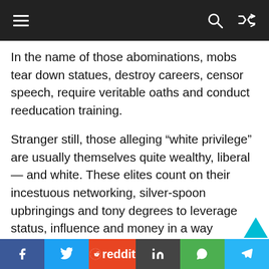Navigation bar with hamburger menu, search, and shuffle icons
In the name of those abominations, mobs tear down statues, destroy careers, censor speech, require veritable oaths and conduct reeducation training.
Stranger still, those alleging “white privilege” are usually themselves quite wealthy, liberal — and white. These elites count on their incestuous networking, silver-spoon upbringings and tony degrees to leverage status, influence and money in a way undreamed of by the white working class.
Affluent and privileged minorities likewise join the chorus to call for everything from reparations to “reprogramming” Trump voters
Social share bar: Facebook, Twitter, Reddit, LinkedIn, WhatsApp, Telegram